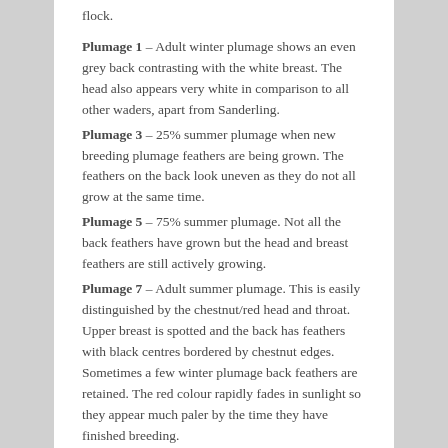flock.
Plumage 1 – Adult winter plumage shows an even grey back contrasting with the white breast. The head also appears very white in comparison to all other waders, apart from Sanderling.
Plumage 3 – 25% summer plumage when new breeding plumage feathers are being grown. The feathers on the back look uneven as they do not all grow at the same time.
Plumage 5 – 75% summer plumage. Not all the back feathers have grown but the head and breast feathers are still actively growing.
Plumage 7 – Adult summer plumage. This is easily distinguished by the chestnut/red head and throat. Upper breast is spotted and the back has feathers with black centres bordered by chestnut edges. Sometimes a few winter plumage back feathers are retained. The red colour rapidly fades in sunlight so they appear much paler by the time they have finished breeding.